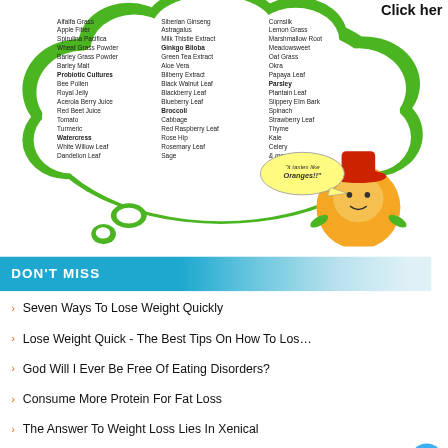[Figure (illustration): Green cloud-shaped speech bubble containing three columns of ingredient names (Alfalfa Grass, Apple Fiber, Spirulina Pacifica, Wheat Grass Powder, Barley Grass Powder, Barley Malt, Probiotic Cultures, Bee Pollen, Royal Jelly, Acerola Berry Juice, Red Beet Juice, Tomato, Turmeric, Watercress, White Willow Leaf, Dandelion Leaf, Siberian Ginseng, Astragalus, Milk Thistle Extract, Ginkgo Biloba, Green Tea Extract, Aloe Vera, Bilberry Extract, Black Walnut Leaf, Blackberry Leaf, Blueberry Leaf, Broccoli, Cabbage, Red Raspberry Leaf, Rose Hip, Rosemary Leaf, Sage, Cornsilk, Lemon Grass, Marshmallow Root, Meadowsweet, Oat Grass, Okra, Papaya Leaf, Parsley, Plantain Leaf, Slippery Elm Bark, Spinach, Strawberry Leaf, Thyme, Kale, Celery, & more...). A cartoon orange character with a speech bubble saying 'It tastes like Oranges!!' is at the bottom right of the cloud.]
DON'T MISS
Seven Ways To Lose Weight Quickly
Lose Weight Quick - The Best Tips On How To Los...
God Will I Ever Be Free Of Eating Disorders?
Consume More Protein For Fat Loss
The Answer To Weight Loss Lies In Xenical
Is It Time To Seriously Lose Weight?